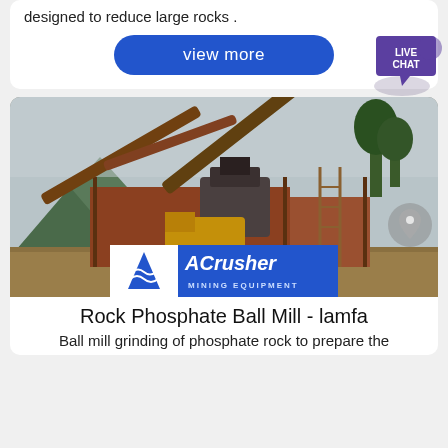designed to reduce large rocks .
view more
[Figure (photo): Mining/crushing equipment facility with conveyor belts and industrial machinery against a mountainous backdrop. ACrusher Mining Equipment logo overlay at bottom.]
Rock Phosphate Ball Mill - lamfa
Ball mill grinding of phosphate rock to prepare the